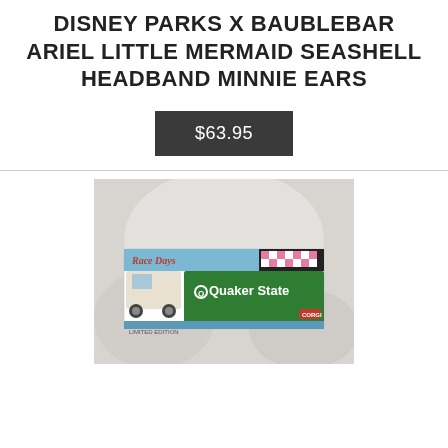DISNEY PARKS X BAUBLEBAR ARIEL LITTLE MERMAID SEASHELL HEADBAND MINNIE EARS
$63.95
[Figure (photo): Photo of a Corgi die-cast toy truck model box with Quaker State branding and checkered flag racing design, displayed against a white fabric background.]